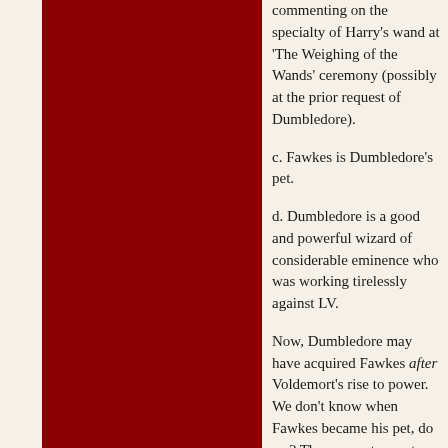commenting on the specialty of Harry's wand at 'The Weighing of the Wands' ceremony (possibly at the prior request of Dumbledore).
c. Fawkes is Dumbledore's pet.
d. Dumbledore is a good and powerful wizard of considerable eminence who was working tirelessly against LV.
Now, Dumbledore may have acquired Fawkes after Voldemort's rise to power. We don't know when Fawkes became his pet, do we? The reason-to create the second wand. Locating the bird that supplied the core of Voldemort's wand would be extremely difficult, but Ollivander apparently